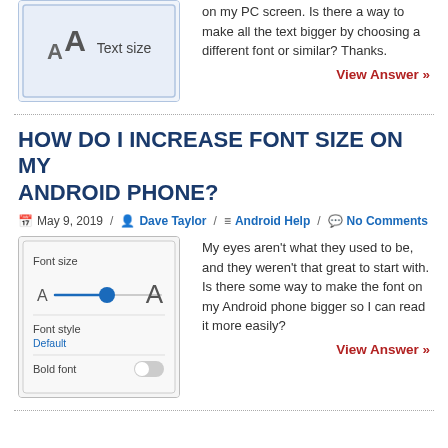[Figure (screenshot): Screenshot of text size settings UI showing 'AA Text size' with font size slider]
on my PC screen. Is there a way to make all the text bigger by choosing a different font or similar? Thanks.
View Answer »
HOW DO I INCREASE FONT SIZE ON MY ANDROID PHONE?
May 9, 2019 / Dave Taylor / Android Help / No Comments
[Figure (screenshot): Screenshot of Android font size settings showing Font size slider, Font style (Default), and Bold font toggle]
My eyes aren't what they used to be, and they weren't that great to start with. Is there some way to make the font on my Android phone bigger so I can read it more easily?
View Answer »